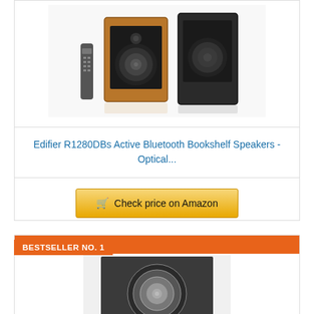[Figure (photo): Edifier R1280DBs bookshelf speakers with remote control, wooden cabinet design]
Edifier R1280DBs Active Bluetooth Bookshelf Speakers - Optical...
Check price on Amazon
BESTSELLER NO. 1
[Figure (photo): Close-up of a speaker driver/woofer, dark grey circular design]